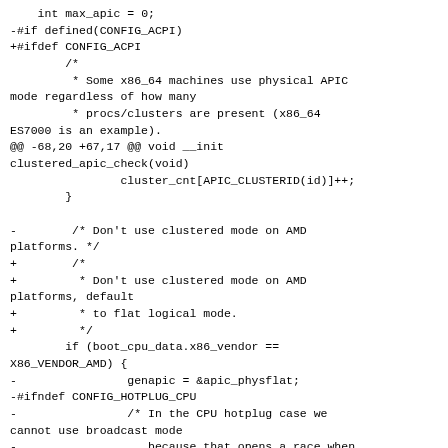int max_apic = 0;
-#if defined(CONFIG_ACPI)
+#ifdef CONFIG_ACPI
        /*
         * Some x86_64 machines use physical APIC mode regardless of how many
         * procs/clusters are present (x86_64 ES7000 is an example).
@@ -68,20 +67,17 @@ void __init clustered_apic_check(void)
                cluster_cnt[APIC_CLUSTERID(id)]++;
        }

-        /* Don't use clustered mode on AMD platforms. */
+        /*
+         * Don't use clustered mode on AMD platforms, default
+         * to flat logical mode.
+         */
        if (boot_cpu_data.x86_vendor == X86_VENDOR_AMD) {
-                genapic = &apic_physflat;
-#ifndef CONFIG_HOTPLUG_CPU
-                /* In the CPU hotplug case we cannot use broadcast mode
-                   because that opens a race when a CPU is removed.
-                   Stay at physflat mode in this
case.